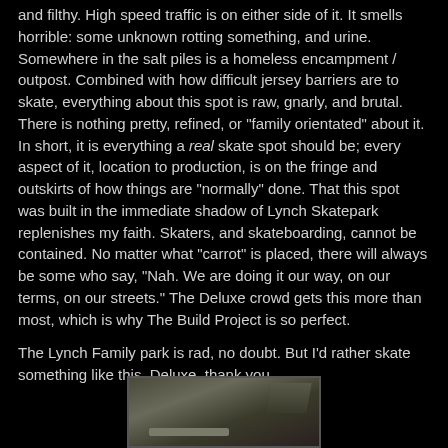and filthy. High speed traffic is on either side of it. It smells horrible: some unknown rotting something, and urine. Somewhere in the salt piles is a homeless encampment / outpost. Combined with how difficult jersey barriers are to skate, everything about this spot is raw, gnarly, and brutal. There is nothing pretty, refined, or "family orientated" about it. In short, it is everything a real skate spot should be; every aspect of it, location to production, is on the fringe and outskirts of how things are "normally" done. That this spot was built in the immediate shadow of Lynch Skatepark replenishes my faith. Skaters, and skateboarding, cannot be contained. No matter what "carrot" is placed, there will always be some who say, "Nah. We are doing it our way, on our terms, on our streets." The Deluxe crowd gets this more than most, which is why The Build Project is so perfect.
The Lynch Family park is rad, no doubt. But I'd rather skate something like this. Deluxe, thank you.
[Figure (photo): A photograph showing what appears to be a rough, gritty skateboarding spot with debris and raw urban infrastructure visible.]